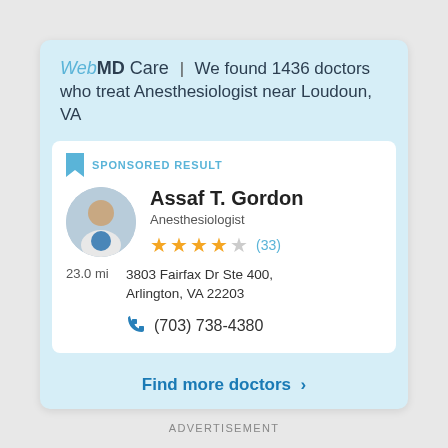WebMD Care | We found 1436 doctors who treat Anesthesiologist near Loudoun, VA
SPONSORED RESULT
Assaf T. Gordon
Anesthesiologist
★★★★☆ (33)
23.0 mi
3803 Fairfax Dr Ste 400, Arlington, VA 22203
(703) 738-4380
Find more doctors >
ADVERTISEMENT